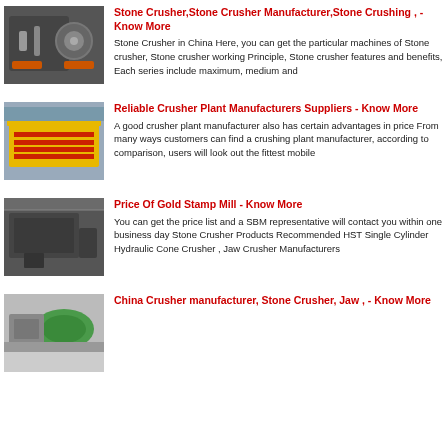[Figure (photo): Industrial stone crusher machine with orange components]
Stone Crusher,Stone Crusher Manufacturer,Stone Crushing , - Know More
Stone Crusher in China Here, you can get the particular machines of Stone crusher, Stone crusher working Principle, Stone crusher features and benefits, Each series include maximum, medium and
[Figure (photo): Yellow and red crusher plant components/jaw plates]
Reliable Crusher Plant Manufacturers Suppliers - Know More
A good crusher plant manufacturer also has certain advantages in price From many ways customers can find a crushing plant manufacturer, according to comparison, users will look out the fittest mobile
[Figure (photo): Industrial gold stamp mill equipment in a warehouse]
Price Of Gold Stamp Mill - Know More
You can get the price list and a SBM representative will contact you within one business day Stone Crusher Products Recommended HST Single Cylinder Hydraulic Cone Crusher , Jaw Crusher Manufacturers
[Figure (photo): China crusher equipment with green tank]
China Crusher manufacturer, Stone Crusher, Jaw , - Know More